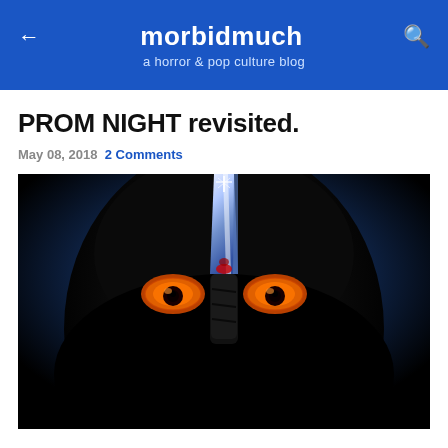morbidmuch — a horror & pop culture blog
PROM NIGHT revisited.
May 08, 2018 2 Comments
[Figure (photo): Prom Night movie poster featuring a figure in a black mask holding a knife up to their face, with glowing eyes visible.]